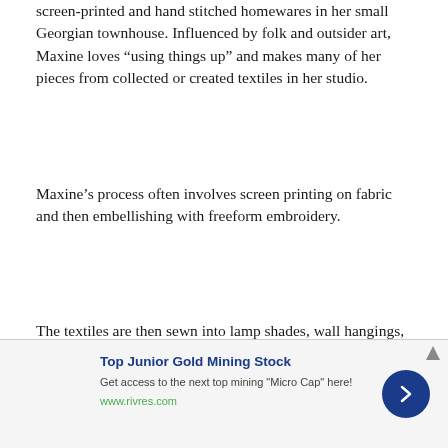screen-printed and hand stitched homewares in her small Georgian townhouse. Influenced by folk and outsider art, Maxine loves “using things up” and makes many of her pieces from collected or created textiles in her studio.
Maxine’s process often involves screen printing on fabric and then embellishing with freeform embroidery.
The textiles are then sewn into lamp shades, wall hangings, pillows, floor poufs, and more. All are available online, as well.
Top Junior Gold Mining Stock
Get access to the next top mining "Micro Cap" here!
www.rivres.com